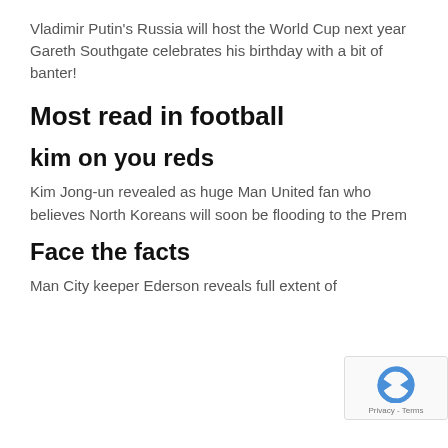Vladimir Putin's Russia will host the World Cup next year
Gareth Southgate celebrates his birthday with a bit of banter!
Most read in football
kim on you reds
Kim Jong-un revealed as huge Man United fan who believes North Koreans will soon be flooding to the Prem
Face the facts
Man City keeper Ederson reveals full extent of